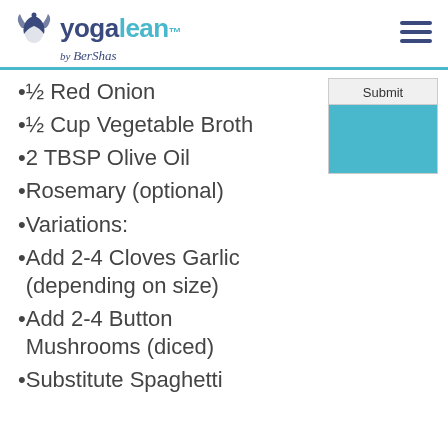yogalean by BerSha
½ Red Onion
½ Cup Vegetable Broth
2 TBSP Olive Oil
Rosemary (optional)
Variations:
Add 2-4 Cloves Garlic (depending on size)
Add 2-4 Button Mushrooms (diced)
Substitute Spaghetti